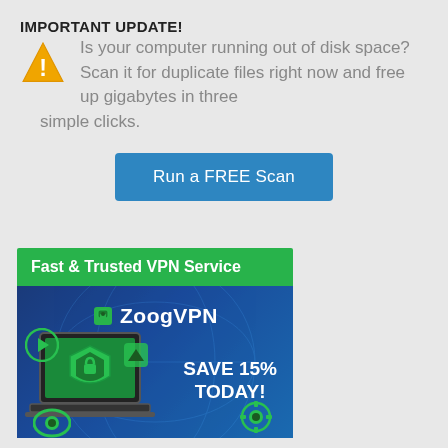IMPORTANT UPDATE!
Is your computer running out of disk space? Scan it for duplicate files right now and free up gigabytes in three simple clicks.
[Figure (other): Blue button labeled 'Run a FREE Scan']
[Figure (infographic): ZoogVPN advertisement banner. Green header reads 'Fast & Trusted VPN Service'. Dark blue background with globe, laptop with shield, icons. Text: ZoogVPN, SAVE 15% TODAY!]